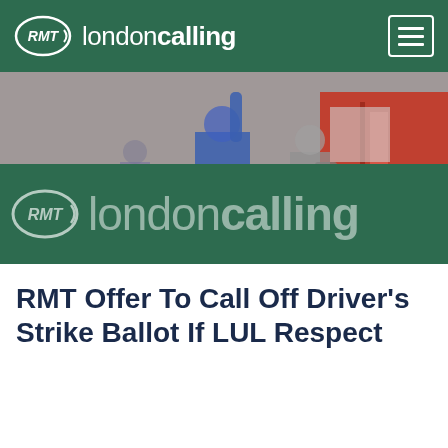RMT londoncalling
[Figure (photo): Platform scene showing a rail worker in blue uniform raising their hand near a red Underground train, with a passenger visible nearby. RMT londoncalling logo watermark overlaid on a green band across the lower portion of the image.]
RMT Offer To Call Off Driver's Strike Ballot If LUL Respect